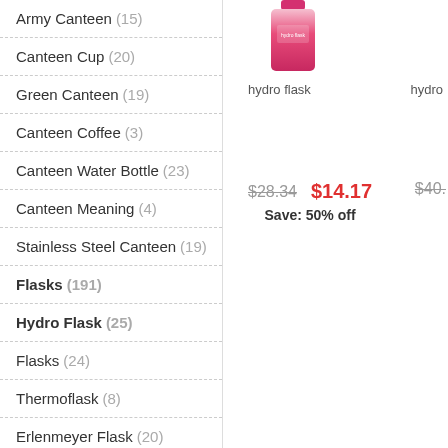Army Canteen (15)
Canteen Cup (20)
Green Canteen (19)
Canteen Coffee (3)
Canteen Water Bottle (23)
Canteen Meaning (4)
Stainless Steel Canteen (19)
Flasks (191)
Hydro Flask (25)
Flasks (24)
Thermoflask (8)
Erlenmeyer Flask (20)
Volumetric Flask (21)
Flask (27)
Plastic Flask (18)
[Figure (photo): Pink/red hydro flask product image]
hydro flask
hydro
$28.34  $14.17  Save: 50% off  $40.
$14.17
Save: 50% off